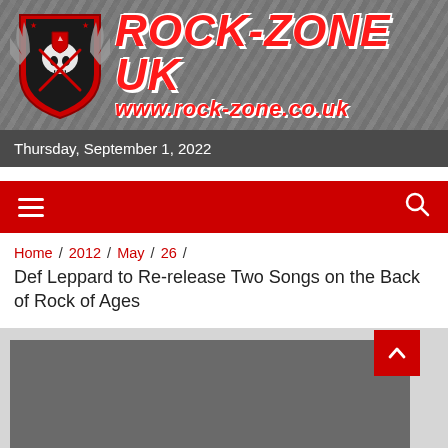[Figure (logo): Rock-Zone UK website header banner with shield logo, skull graphic, and text 'ROCK-ZONE UK' and 'www.rock-zone.co.uk' in red on metallic diamond plate background]
Thursday, September 1, 2022
[Figure (infographic): Red navigation bar with hamburger menu icon on left and search icon on right]
Home / 2012 / May / 26 /
Def Leppard to Re-release Two Songs on the Back of Rock of Ages
[Figure (photo): Article image placeholder, dark gray rectangle]